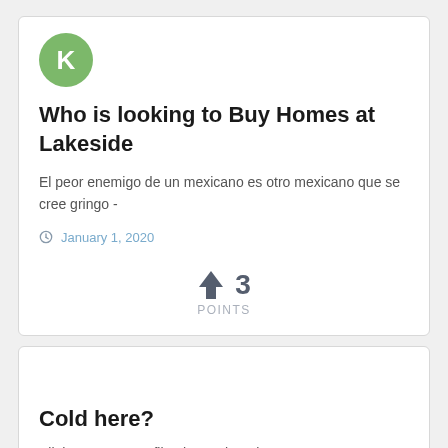[Figure (illustration): Green circular avatar with white letter K]
Who is looking to Buy Homes at Lakeside
El peor enemigo de un mexicano es otro mexicano que se cree gringo -
January 1, 2020
↑ 3
POINTS
Cold here?
All three are 2016 file photos that TinEye says are on 180